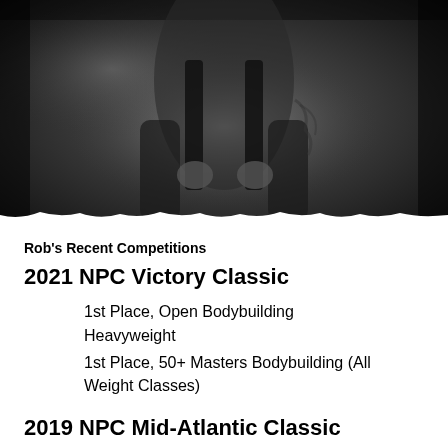[Figure (photo): Black and white photo of a muscular person gripping gym equipment straps, with tattooed arm visible, taken in a gym setting]
Rob's Recent Competitions
2021 NPC Victory Classic
1st Place, Open Bodybuilding Heavyweight
1st Place, 50+ Masters Bodybuilding (All Weight Classes)
2019 NPC Mid-Atlantic Classic